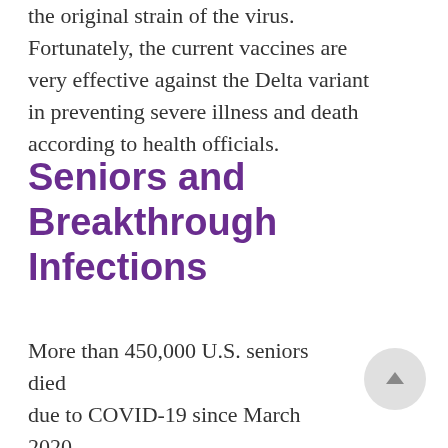the original strain of the virus. Fortunately, the current vaccines are very effective against the Delta variant in preventing severe illness and death according to health officials.
Seniors and Breakthrough Infections
More than 450,000 U.S. seniors died due to COVID-19 since March 2020. However, the good news is that about 75% of older Americans are now fully vaccinated against the disease. Nonetheless, even if vaccinated, certain groups should take extra steps